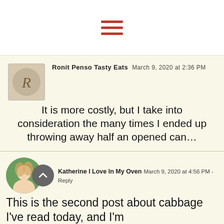[Figure (other): Hamburger menu icon — three horizontal red bars]
Ronit Penso Tasty Eats   March 9, 2020 at 2:36 PM
It is more costly, but I take into consideration the many times I ended up throwing away half an opened can…
Katherine I Love In My Oven   March 9, 2020 at 4:56 PM - Reply
This is the second post about cabbage I've read today, and I'm